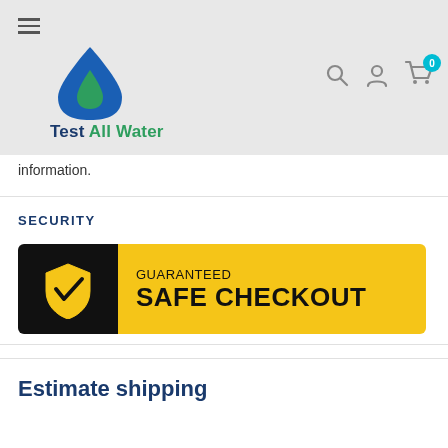[Figure (logo): Test All Water logo with blue and green water drop and text 'Test All Water']
information.
SECURITY
[Figure (infographic): Guaranteed Safe Checkout banner with yellow and black background, shield checkmark icon]
Estimate shipping